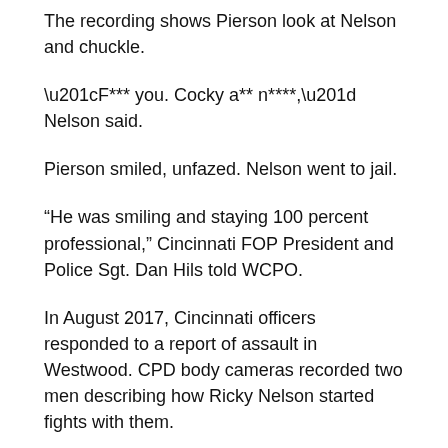The recording shows Pierson look at Nelson and chuckle.
“F*** you. Cocky a** n****,” Nelson said.
Pierson smiled, unfazed. Nelson went to jail.
“He was smiling and staying 100 percent professional,” Cincinnati FOP President and Police Sgt. Dan Hils told WCPO.
In August 2017, Cincinnati officers responded to a report of assault in Westwood. CPD body cameras recorded two men describing how Ricky Nelson started fights with them.
The officers entered Nelson’s home and found